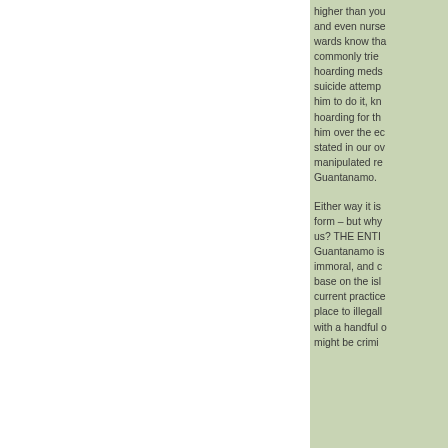higher than you and even nurse wards know that commonly tried hoarding meds suicide attempt him to do it, kn hoarding for th him over the ec stated in our ov manipulated re Guantanamo.
Either way it is form – but why us? THE ENTI Guantanamo is immoral, and c base on the isl current practice place to illegall with a handful might be crimi